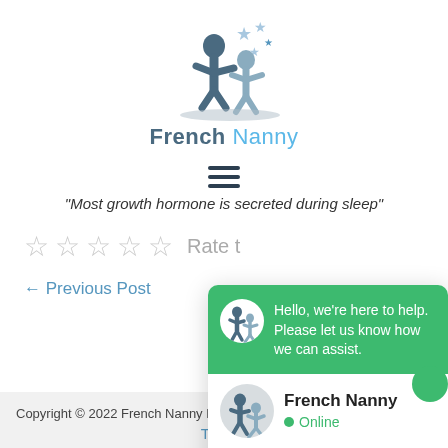[Figure (logo): French Nanny logo with two child silhouettes and stars, text 'French Nanny' below]
"Most growth hormone is secreted during sleep"
Rate t[his]
← Previous Post
[Figure (screenshot): Chat popup overlay showing green header with message 'Hello, we're here to help. Please let us know how we can assist.' and French Nanny avatar, white body with French Nanny name and Online status, Powered by ToChat footer]
Copyright © 2022 French Nanny Lon... Theme